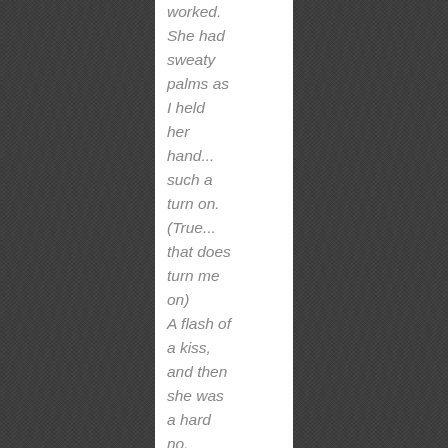worked. She had sweaty palms as I held her hand... such a turn on. (True... that does turn me on) A flash of a kiss, and then she was a hard no.